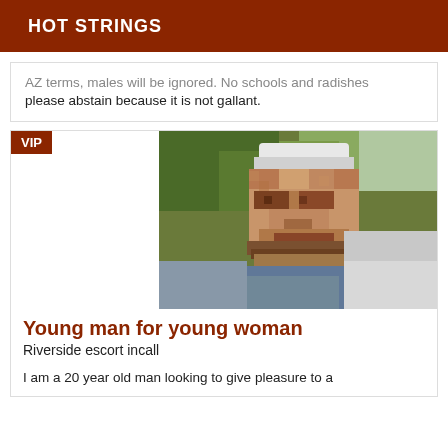HOT STRINGS
AZ terms, males will be ignored. No schools and radishes please abstain because it is not gallant.
[Figure (photo): Pixelated/blurred photograph of a young man outdoors, with a VIP badge in the upper-left corner of the listing card.]
Young man for young woman
Riverside escort incall
I am a 20 year old man looking to give pleasure to a